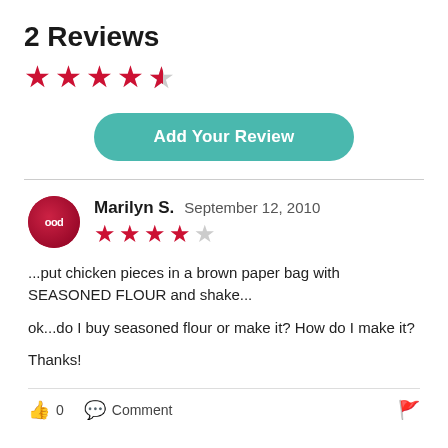2 Reviews
[Figure (other): 4.5 star rating shown with red filled stars and one half-filled star]
[Figure (other): Add Your Review button with teal rounded background]
Marilyn S.   September 12, 2010
[Figure (other): 4 out of 5 red stars rating for reviewer Marilyn S.]
...put chicken pieces in a brown paper bag with SEASONED FLOUR and shake...
ok...do I buy seasoned flour or make it? How do I make it?
Thanks!
0   Comment